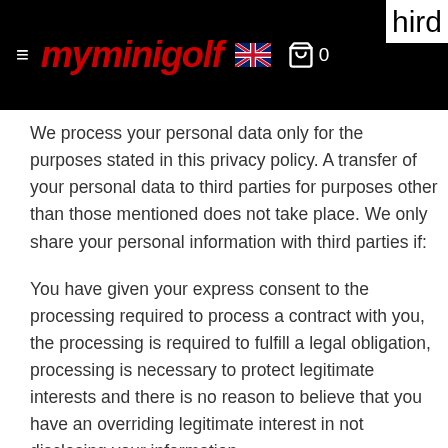myminigolf — navigation header with logo, UK flag, cart icon, and '0' item count
We process your personal data only for the purposes stated in this privacy policy. A transfer of your personal data to third parties for purposes other than those mentioned does not take place. We only share your personal information with third parties if:
You have given your express consent to the processing required to process a contract with you, the processing is required to fulfill a legal obligation, processing is necessary to protect legitimate interests and there is no reason to believe that you have an overriding legitimate interest in not disclosing your information.